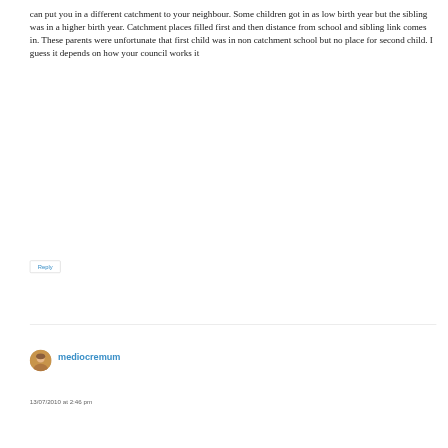can put you in a different catchment to your neighbour. Some children got in as low birth year but the sibling was in a higher birth year. Catchment places filled first and then distance from school and sibling link comes in. These parents were unfortunate that first child was in non catchment school but no place for second child. I guess it depends on how your council works it
Reply
mediocremum
13/07/2010 at 2:46 pm